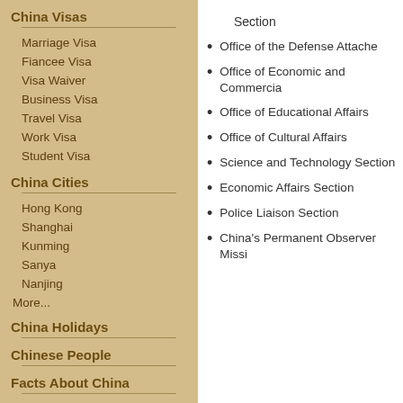China Visas
Marriage Visa
Fiancee Visa
Visa Waiver
Business Visa
Travel Visa
Work Visa
Student Visa
China Cities
Hong Kong
Shanghai
Kunming
Sanya
Nanjing
More...
China Holidays
Chinese People
Facts About China
Chinese Symbols
Section
Office of the Defense Attache
Office of Economic and Commercial
Office of Educational Affairs
Office of Cultural Affairs
Science and Technology Section
Economic Affairs Section
Police Liaison Section
China's Permanent Observer Missi